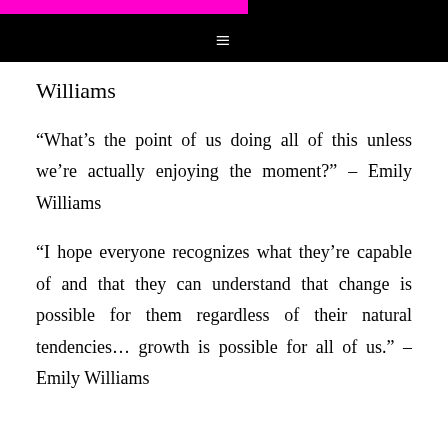≡
Williams
“What’s the point of us doing all of this unless we’re actually enjoying the moment?” – Emily Williams
“I hope everyone recognizes what they’re capable of and that they can understand that change is possible for them regardless of their natural tendencies… growth is possible for all of us.” – Emily Williams